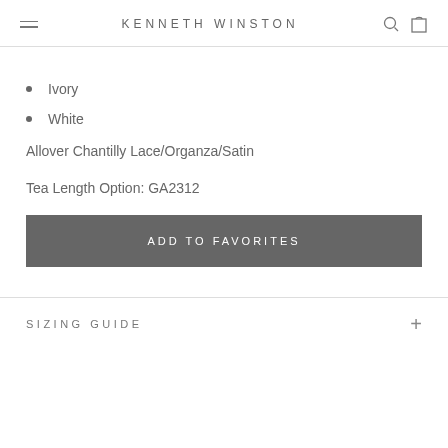KENNETH WINSTON
Ivory
White
Allover Chantilly Lace/Organza/Satin
Tea Length Option: GA2312
ADD TO FAVORITES
SIZING GUIDE